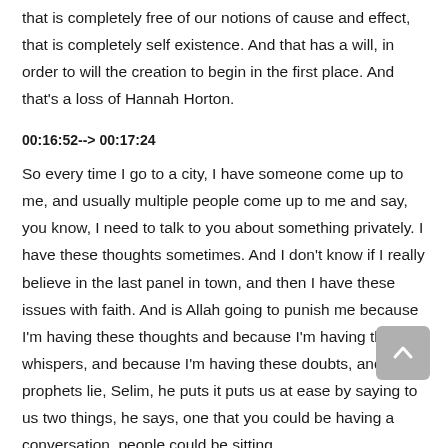that is completely free of our notions of cause and effect, that is completely self existence. And that has a will, in order to will the creation to begin in the first place. And that's a loss of Hannah Horton.
00:16:52--> 00:17:24
So every time I go to a city, I have someone come up to me, and usually multiple people come up to me and say, you know, I need to talk to you about something privately. I have these thoughts sometimes. And I don't know if I really believe in the last panel in town, and then I have these issues with faith. And is Allah going to punish me because I'm having these thoughts and because I'm having these whispers, and because I'm having these doubts, and the prophets lie, Selim, he puts it puts us at ease by saying to us two things, he says, one that you could be having a conversation, people could be sitting